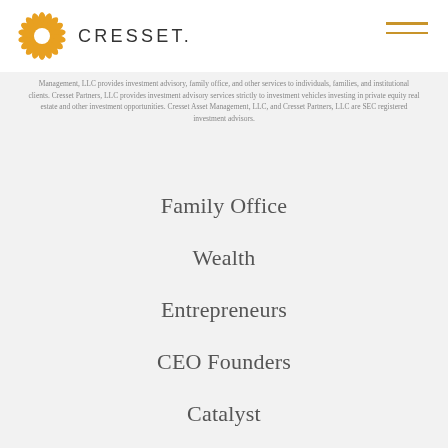[Figure (logo): Cresset logo with orange sunburst icon and CRESSET wordmark]
Management, LLC provides investment advisory, family office, and other services to individuals, families, and institutional clients. Cresset Partners, LLC provides investment advisory services strictly to investment vehicles investing in private equity real estate and other investment opportunities. Cresset Asset Management, LLC, and Cresset Partners, LLC are SEC registered investment advisors.
Family Office
Wealth
Entrepreneurs
CEO Founders
Catalyst
Private Equity Partners